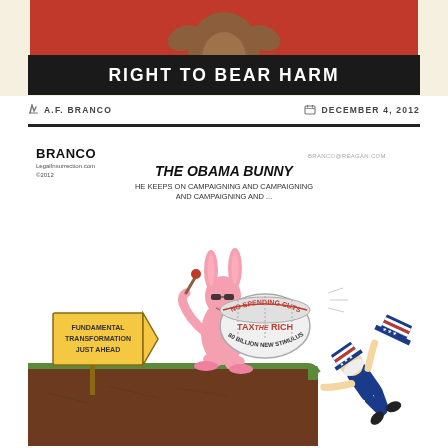[Figure (illustration): Top portion of a bear figure against a red background, torso visible]
RIGHT TO BEAR HARM
✏ A.F. BRANCO
📅 DECEMBER 4, 2012
[Figure (illustration): Political cartoon by Branco/LegalInsurrection.com ©2012. Shows 'The Obama Bunny' - a figure dressed as a pink bunny with sunglasses playing a drum labeled 'No Spending Cuts, Tax the Rich, 80 Billion New Stimulus', marching off a cliff. A sign reads 'Fundamental Transformation Just Ahead'. Uncle Sam falls off the cliff to the right. Caption: 'He keeps on campaigning and campaigning and campaigning and...']